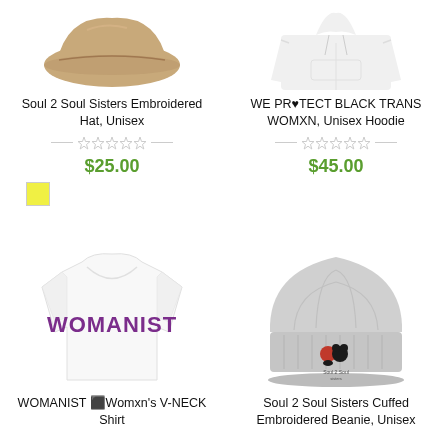[Figure (photo): Tan/khaki embroidered visor hat, top portion visible]
Soul 2 Soul Sisters Embroidered Hat, Unisex
☆☆☆☆☆
$25.00
[Figure (photo): White unisex hoodie sweatshirt, top portion visible]
WE PR♥TECT BLACK TRANS WOMXN, Unisex Hoodie
☆☆☆☆☆
$45.00
[Figure (photo): White women's V-neck t-shirt with WOMANIST printed in bold purple letters]
WOMANIST ⬛Womxn's V-NECK Shirt
[Figure (photo): Gray cuffed knit beanie with Soul 2 Soul Sisters embroidered logo on the cuff]
Soul 2 Soul Sisters Cuffed Embroidered Beanie, Unisex